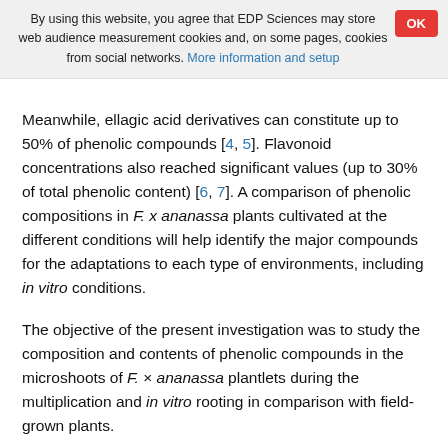By using this website, you agree that EDP Sciences may store web audience measurement cookies and, on some pages, cookies from social networks. More information and setup
Meanwhile, ellagic acid derivatives can constitute up to 50% of phenolic compounds [4, 5]. Flavonoid concentrations also reached significant values (up to 30% of total phenolic content) [6, 7]. A comparison of phenolic compositions in F. x ananassa plants cultivated at the different conditions will help identify the major compounds for the adaptations to each type of environments, including in vitro conditions.
The objective of the present investigation was to study the composition and contents of phenolic compounds in the microshoots of F. × ananassa plantlets during the multiplication and in vitro rooting in comparison with field-grown plants.